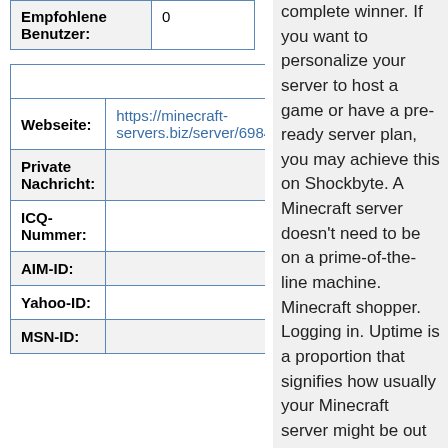| Empfohlene Benutzer: |  |
| --- | --- |
| Empfohlene Benutzer: | 0 |
| Kontaktdetails für MelissaMea |
| --- |
| Webseite: | https://minecraft-servers.biz/server/6984/ |
| Private Nachricht: |  |
| ICQ-Nummer: |  |
| AIM-ID: |  |
| Yahoo-ID: |  |
| MSN-ID: |  |
complete winner. If you want to personalize your server to host a game or have a pre-ready server plan, you may achieve this on Shockbyte. A Minecraft server doesn't need to be on a prime-of-the-line machine. Minecraft shopper. Logging in. Uptime is a proportion that signifies how usually your Minecraft server might be out